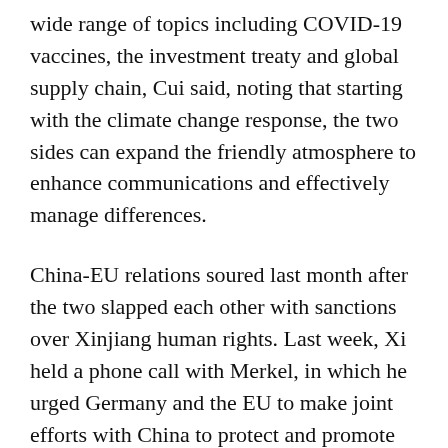wide range of topics including COVID-19 vaccines, the investment treaty and global supply chain, Cui said, noting that starting with the climate change response, the two sides can expand the friendly atmosphere to enhance communications and effectively manage differences.
China-EU relations soured last month after the two slapped each other with sanctions over Xinjiang human rights. Last week, Xi held a phone call with Merkel, in which he urged Germany and the EU to make joint efforts with China to protect and promote the healthy and stable development of their cooperation to bring more certainty and stability to the volatile world.